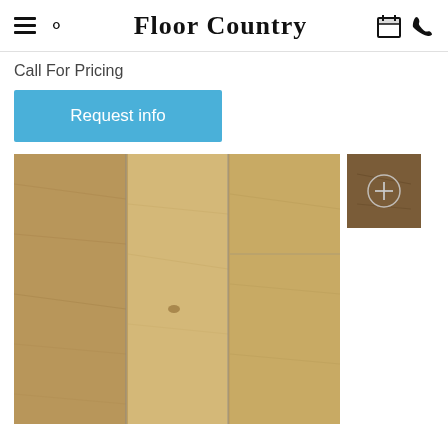Floor Country
Call For Pricing
Request info
[Figure (photo): Wood flooring planks in a warm brown/tan tone showing grain and texture, displayed as three vertical planks side by side, with a darker thumbnail image in the upper right corner showing a plus/zoom icon.]